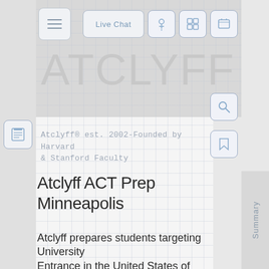[Figure (screenshot): Website UI screenshot showing ATCLYFF educational platform header with navigation icons, brand name, and content area]
ATCLYFF
Atclyff® est. 2002-Founded by Harvard & Stanford Faculty
Atclyff ACT Prep Minneapolis
Atclyff prepares students targeting University Entrance in the United States of America